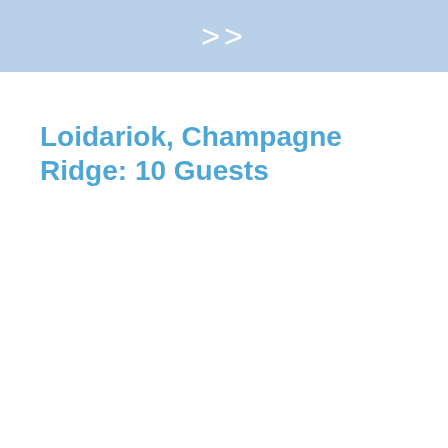>>
Loidariok, Champagne Ridge: 10 Guests